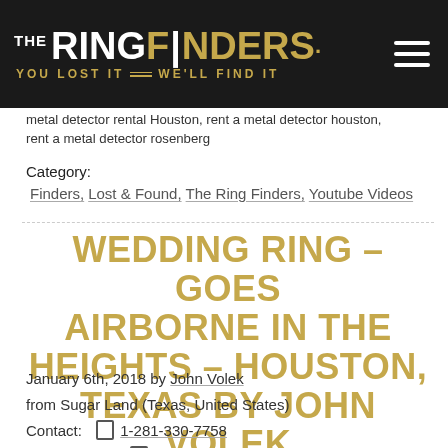THE RING FINDERS. YOU LOST IT WE'LL FIND IT
metal detector rental Houston, rent a metal detector houston, rent a metal detector rosenberg
Category:
Finders, Lost & Found, The Ring Finders, Youtube Videos
WEDDING RING – GOES AIRBORNE IN THE HEIGHTS – HOUSTON, TEXAS BY JOHN VOLEK
January 6th, 2018 by John Volek
from Sugar Land (Texas, United States)
Contact: 1-281-330-7758
Call or Text